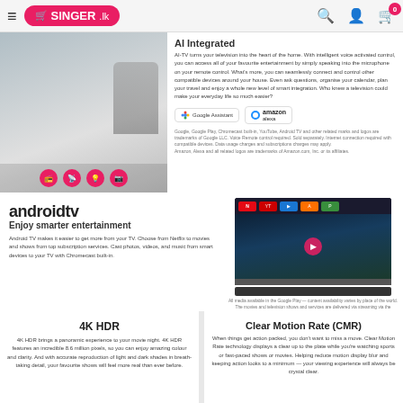SINGER.lk — navigation header with cart (0)
AI Integrated
AI-TV turns your television into the heart of the home. With intelligent voice activated control, you can access all of your favourite entertainment by simply speaking into the microphone on your remote control. What's more, you can seamlessly connect and control other compatible devices around your house. Even ask questions, organise your calendar, plan your travel and enjoy a whole new level of smart integration. Who knew a television could make your everyday life so much easier?
[Figure (logo): Google Assistant and Amazon Alexa logos/badges]
Google, Google Play, Chromecast built-in, YouTube, Android TV and other related marks and logos are trademarks of Google LLC. Voice Remote control required. Sold separately. Internet connection required with compatible devices. Data usage charges and subscriptions charges may apply. Amazon, Alexa and all related logos are trademarks of Amazon.com, Inc. or its affiliates.
androidtv
Enjoy smarter entertainment
Android TV makes it easier to get more from your TV. Choose from Netflix to movies and shows from top subscription services. Cast photos, videos, and music from smart devices to your TV with Chromecast built-in.
[Figure (photo): Android TV smart television displaying Android TV home screen with app icons and movie content]
All media available in the Google Play — content availability varies by place of the world. The movies and television shows and services are delivered via streaming via the internet. Jurassic Park Uprising © 2019 Universal Studios. All Rights Reserved. Photo Portrait © © 2019 Universal Studios. All Rights Reserved. Data Usage charges and subscription charges may apply.
4K HDR
4K HDR brings a panoramic experience to your movie night. 4K HDR features an incredible 8.6 million pixels, so you can enjoy amazing colour and clarity. And with accurate reproduction of light and dark shades in breath-taking detail, your favourite shows will feel more real than ever before.
Clear Motion Rate (CMR)
When things get action packed, you don't want to miss a move. Clear Motion Rate technology displays a clear up to the plate while you're watching sports or fast-paced shows or movies. Helping reduce motion display blur and keeping action looks to a minimum — your viewing experience will always be crystal clear.